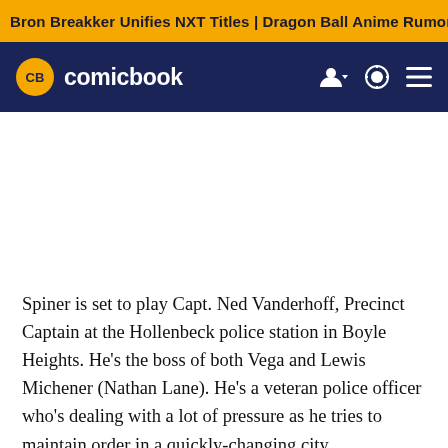Bron Breakker Unifies NXT Titles | Dragon Ball Anime Rumor
[Figure (logo): ComicBook.com logo with CB badge in yellow circle on dark navy navigation bar]
Spiner is set to play Capt. Ned Vanderhoff, Precinct Captain at the Hollenbeck police station in Boyle Heights. He's the boss of both Vega and Lewis Michener (Nathan Lane). He's a veteran police officer who's dealing with a lot of pressure as he tries to maintain order in a quickly-changing city.